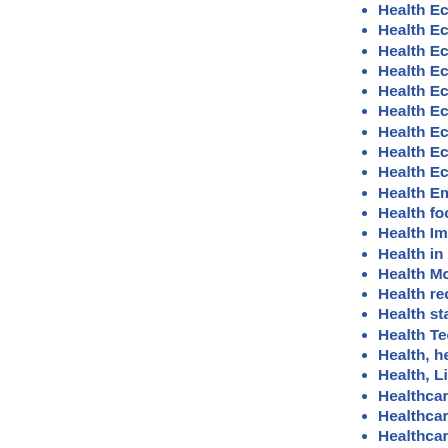Health Economics @ Cambridge s
Health Economics @ Cambridge s
Health Economics @ Cambridge s
Health Economics @ Cambridge s
Health Economics @ Cambridge s
Health Economics @ Cambridge s
Health Economics @ Cambridge s
Health Economics @ Cambridge s
Health Economics @ Cambridge s
Health Emergencies, Resource All
Health foods in late Victorian adve
Health Impacts of Economic Inequ
Health in Africa Workshop, panel o
Health Monitoring with Wireless Se
Health records, privacy and social
Health status and health care utiliz
Health Technologies KTN: working
Health, height and intelligence in h
Health, Lifestyle and Social Intera
Healthcare and welfare in contemp
Healthcare Biotechnology
Healthcare data research
Healthcare Design Toolkit - helping
Healthcare SIG: Personalised mec
Healthy Ageing and Social Capital
Healthy Cities from the Bottom